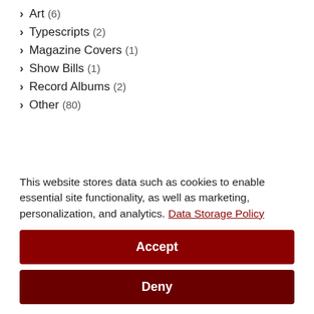> Art (6)
> Typescripts (2)
> Magazine Covers (1)
> Show Bills (1)
> Record Albums (2)
> Other (80)
This website stores data such as cookies to enable essential site functionality, as well as marketing, personalization, and analytics. Data Storage Policy
Accept
Deny